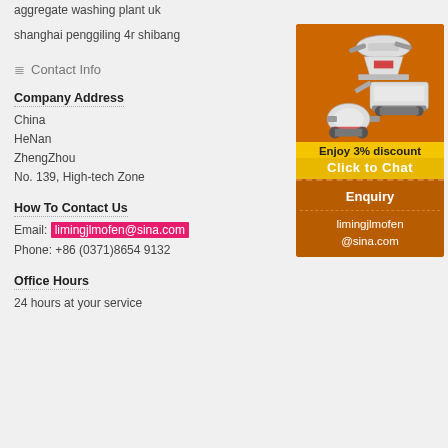aggregate washing plant uk
shanghai penggiling 4r shibang
Contact Info
Company Address
China
HeNan
ZhengZhou
No. 139, High-tech Zone
How To Contact Us
Email: limingjlmofen@sina.com
Phone: +86 (0371)8654 9132
Office Hours
24 hours at your service
[Figure (photo): Orange advertisement banner showing mining/crushing machinery images with 'Enjoy 3% discount' and 'Click to Chat' call-to-action, and contact info limingjlmofen@sina.com with Enquiry button]